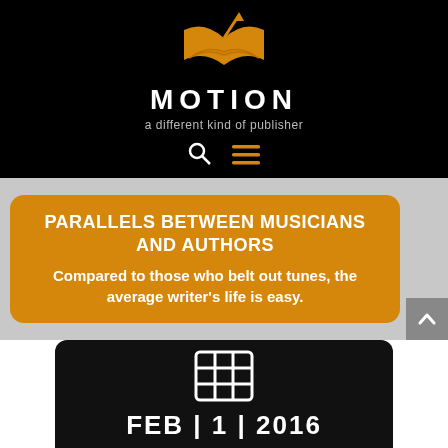[Figure (logo): Motion publisher logo: orange open book with upward arrow, white text MOTION, gray subtitle 'a different kind of publisher', with search and hamburger menu icons below]
PARALLELS BETWEEN MUSICIANS AND AUTHORS
Compared to those who belt out tunes, the average writer's life is easy.
[Figure (other): Grid/table icon in white on black rounded rectangle background]
FEB | 1 | 2016